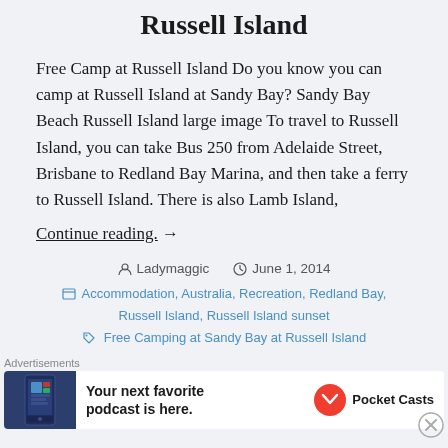Russell Island
Free Camp at Russell Island Do you know you can camp at Russell Island at Sandy Bay? Sandy Bay Beach Russell Island large image To travel to Russell Island, you can take Bus 250 from Adelaide Street, Brisbane to Redland Bay Marina, and then take a ferry to Russell Island. There is also Lamb Island,
Continue reading. →
Ladymaggic  June 1, 2014
Accommodation, Australia, Recreation, Redland Bay, Russell Island, Russell Island sunset
Free Camping at Sandy Bay at Russell Island
Advertisements
Your next favorite podcast is here.  Pocket Casts